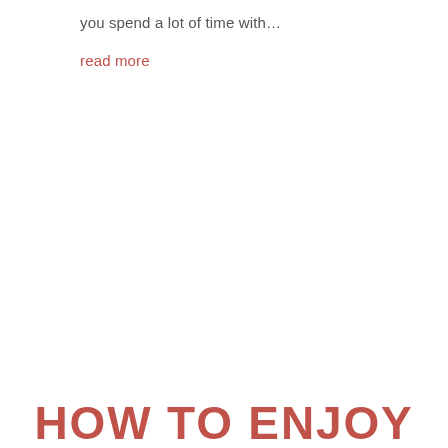you spend a lot of time with…
read more
HOW TO ENJOY